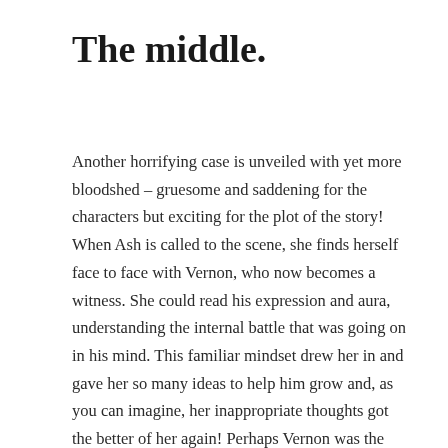The middle.
Another horrifying case is unveiled with yet more bloodshed – gruesome and saddening for the characters but exciting for the plot of the story! When Ash is called to the scene, she finds herself face to face with Vernon, who now becomes a witness. She could read his expression and aura, understanding the internal battle that was going on in his mind. This familiar mindset drew her in and gave her so many ideas to help him grow and, as you can imagine, her inappropriate thoughts got the better of her again! Perhaps Vernon was the person she needed to feel alive again? I did feel sorry for Ash sometimes. Even though she was a character with extreme sexual needs, mountains of confidence and all the looks, she didn't